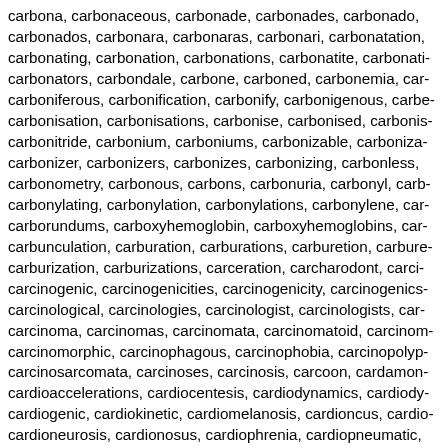carbona, carbonaceous, carbonade, carbonades, carbonado, carbonados, carbonara, carbonaras, carbonari, carbonatation, carbonating, carbonation, carbonations, carbonatite, carbonatites, carbonators, carbondale, carbone, carboned, carbonemia, carboniferous, carbonification, carbonify, carbonigenous, carbonisation, carbonisations, carbonise, carbonised, carboniser, carbonitride, carbonium, carboniums, carbonizable, carbonization, carbonizer, carbonizers, carbonizes, carbonizing, carbonless, carbonometry, carbonous, carbons, carbonuria, carbonyl, carbonylating, carbonylation, carbonylations, carbonylene, carborundums, carboxyhemoglobin, carboxyhemoglobins, carbunculation, carburation, carburations, carburetion, carburization, carburizations, carceration, carcharodont, carcinogenic, carcinogenicities, carcinogenicity, carcinogenics, carcinological, carcinologies, carcinologist, carcinologists, carcinoma, carcinomas, carcinomata, carcinomatoid, carcinomorphic, carcinophagous, carcinophobia, carcinopolyp, carcinosarcomata, carcinoses, carcinosis, carcoon, cardamon, cardioaccelerations, cardiocentesis, cardiodynamics, cardiogenic, cardiokinetic, cardiomelanosis, cardioncus, cardioneurosis, cardionosus, cardiophrenia, cardiopneumatic, cardiopuncture, cardiorenal, cardiotonic, cardiotonics, cardon, cardoons, cardosanto, cardphone, cardphones, careworn, carilloned, carilloneur, carilloning, carillonist, carillonists, carillonning, carillons, carination, cariniform, cariogenic, carioli